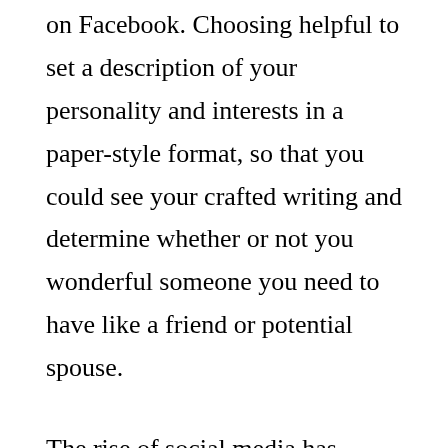on Facebook. Choosing helpful to set a description of your personality and interests in a paper-style format, so that you could see your crafted writing and determine whether or not you wonderful someone you need to have like a friend or potential spouse.
The rise of social media has triggered many visitors to question whether or not the use of these websites is unsafe or not. In fact , many people believe that it is. It is actually true the fact that the rise of scammers on dating sites